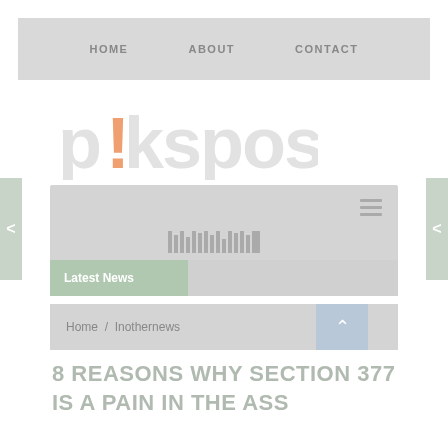HOME   ABOUT   CONTACT
[Figure (logo): pikspost logo in light gray stylized text with an orange/peach accent on the letter i]
[Figure (screenshot): Website navigation bar with hamburger menu icon and barcode-like pattern]
Latest News
Home / Inothernews
8 REASONS WHY SECTION 377 IS A PAIN IN THE ASS